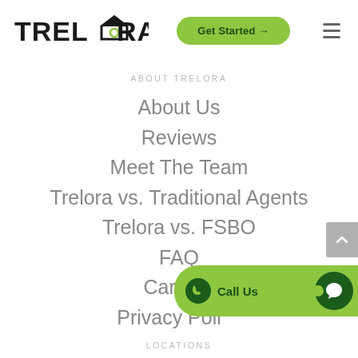[Figure (logo): TRELORA logo with house icon replacing the O]
[Figure (other): Green rounded Get Started button with arrow]
[Figure (other): Hamburger menu icon (three horizontal lines)]
ABOUT TRELORA
About Us
Reviews
Meet The Team
Trelora vs. Traditional Agents
Trelora vs. FSBO
FAQ
Careers
Privacy Policy
[Figure (other): Call Us and Chat button bar at bottom right]
LOCATIONS